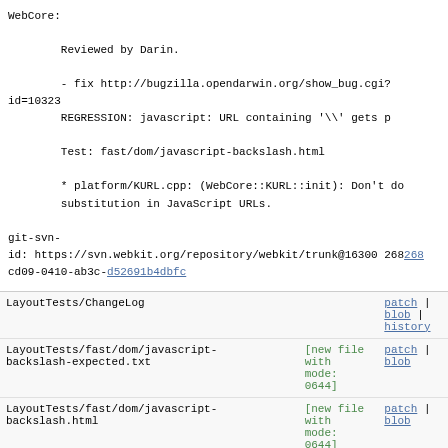WebCore:

        Reviewed by Darin.

        - fix http://bugzilla.opendarwin.org/show_bug.cgi?id=10323
        REGRESSION: javascript: URL containing '\\' gets p

        Test: fast/dom/javascript-backslash.html

        * platform/KURL.cpp: (WebCore::KURL::init): Don't do
        substitution in JavaScript URLs.

git-svn-id: https://svn.webkit.org/repository/webkit/trunk@16300 268cd09-0410-ab3c-d52691b4dbfc
| File | Mode | Links |
| --- | --- | --- |
| LayoutTests/ChangeLog |  | patch | blob | history |
| LayoutTests/fast/dom/javascript-backslash-expected.txt | [new file with mode: 0644] | patch | blob |
| LayoutTests/fast/dom/javascript-backslash.html | [new file with mode: 0644] | patch | blob |
| WebCore/ChangeLog |  | patch | blob | history |